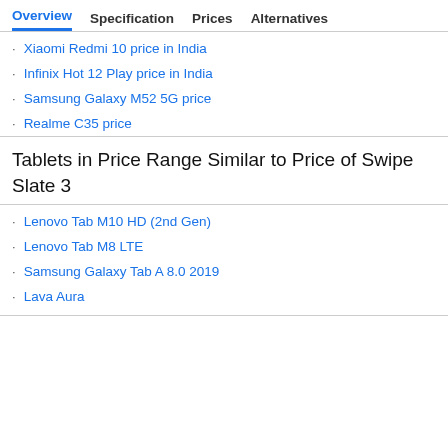Overview  Specification  Prices  Alternatives
Xiaomi Redmi 10 price in India
Infinix Hot 12 Play price in India
Samsung Galaxy M52 5G price
Realme C35 price
Tablets in Price Range Similar to Price of Swipe Slate 3
Lenovo Tab M10 HD (2nd Gen)
Lenovo Tab M8 LTE
Samsung Galaxy Tab A 8.0 2019
Lava Aura